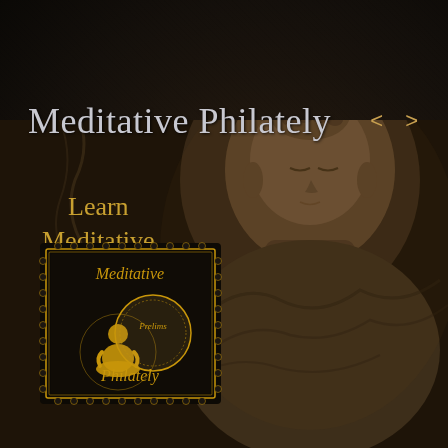Meditative Philately
[Figure (illustration): Dark background with large Buddha statue head and shoulders, sepia/brown tones, overlaid with stamp logo showing meditating figure]
< >
Learn
Meditative
Philately
[Figure (logo): Postage stamp logo with gold border, meditating silhouette, circular stamp overlay reading 'Meditative Philately']